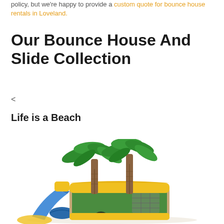policy, but we're happy to provide a custom quote for bounce house rentals in Loveland.
Our Bounce House And Slide Collection
<
Life is a Beach
[Figure (photo): Inflatable bounce house with slide themed as a tropical beach scene with palm trees in green and brown, yellow and green walls, and a blue slide on the left side.]